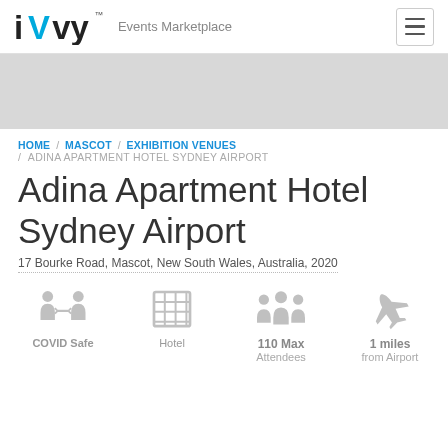iVvy™ Events Marketplace
[Figure (photo): Grey image placeholder area for venue photo]
HOME / MASCOT / EXHIBITION VENUES / ADINA APARTMENT HOTEL SYDNEY AIRPORT
Adina Apartment Hotel Sydney Airport
17 Bourke Road, Mascot, New South Wales, Australia, 2020
[Figure (infographic): Four icons: COVID Safe, Hotel, 110 Max Attendees, 1 miles from Airport]